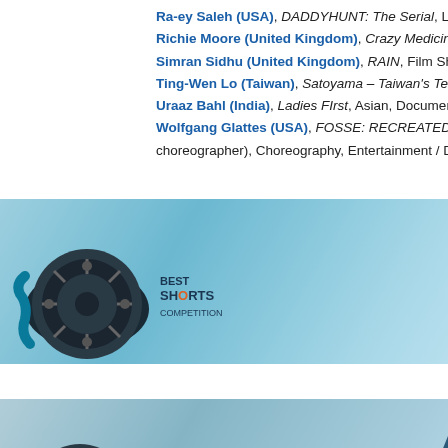Ra-ey Saleh (USA), DADDYHUNT: The Serial, LGBT, Web / Intern...
Richie Moore (United Kingdom), Crazy Medicine, Asian, Film Sh...
Simran Sidhu (United Kingdom), RAIN, Film Short
Ting-Wen Lo (Taiwan), Satoyama – Taiwan's Tenuous Dance with...
Uraaz Bahl (India), Ladies FIrst, Asian, Documentary Short, Wome...
Wolfgang Glattes (USA), FOSSE: RECREATED – A Master Class... choreographer), Choreography, Entertainment / Drama / Dance / V...
CLICK BELOW FOR AWARD O...
[Figure (illustration): Best Shorts Competition banner with film reel logo on the left and 'AWARD OF...' and 'CLI...' text on blue/silver gradient background]
CLICK BELOW FOR AWARD OF R...
[Figure (illustration): Best Shorts Competition banner with film reel logo on the left and 'AWARD OF RECO...' and 'CL...' text on blue/silver gradient background]